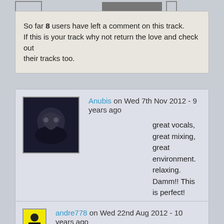So far 8 users have left a comment on this track. If this is your track why not return the love and check out their tracks too.
Anubis on Wed 7th Nov 2012 - 9 years ago
great vocals, great mixing, great environment. relaxing.
Damm!! This is perfect!
thanks for sharing.
Reply by RomyHarmony
Thanks a lot for the comment, happy to hear you enjoyed! :)
andre778 on Wed 22nd Aug 2012 - 10 years ago